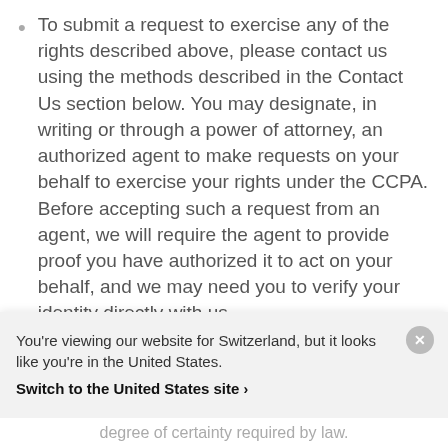To submit a request to exercise any of the rights described above, please contact us using the methods described in the Contact Us section below. You may designate, in writing or through a power of attorney, an authorized agent to make requests on your behalf to exercise your rights under the CCPA. Before accepting such a request from an agent, we will require the agent to provide proof you have authorized it to act on your behalf, and we may need you to verify your identity directly with us.
You're viewing our website for Switzerland, but it looks like you're in the United States.
Switch to the United States site ›
degree of certainty required by law.